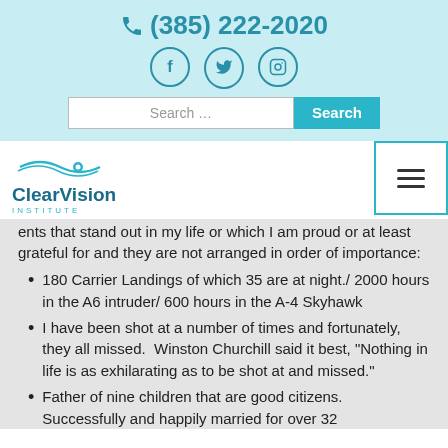(385) 222-2020
[Figure (logo): Social media icons: Facebook, Twitter, Instagram in teal circles]
[Figure (other): Search bar with Search button]
[Figure (logo): ClearVision Institute logo with wave and eye graphic]
ents that stand out in my life or which I am proud or at least grateful for and they are not arranged in order of importance:
180 Carrier Landings of which 35 are at night./ 2000 hours in the A6 intruder/ 600 hours in the A-4 Skyhawk
I have been shot at a number of times and fortunately, they all missed.  Winston Churchill said it best, “Nothing in life is as exhilarating as to be shot at and missed.”
Father of nine children that are good citizens. Successfully and happily married for over 32